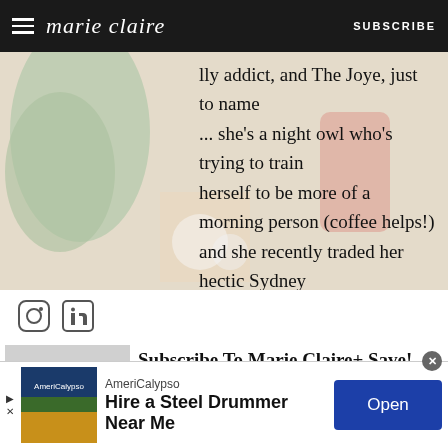marie claire | SUBSCRIBE
[Figure (photo): Background lifestyle photo with overlay text: '...lly addict, and The Joye, just to name ... she's a night owl who's trying to train herself to be more of a morning person (coffee helps!) and she recently traded her hectic Sydney life for a quieter pace in Brisbane.']
[Figure (other): Social media icons: Instagram and LinkedIn]
[Figure (photo): Grey placeholder image for Marie Claire subscription offer]
Subscribe To Marie Claire+ Save!
Subscribe to marie claire
SUBSCRIBE NOW
[Figure (photo): Advertisement banner: AmeriCalypso - Hire a Steel Drummer Near Me, with Open button]